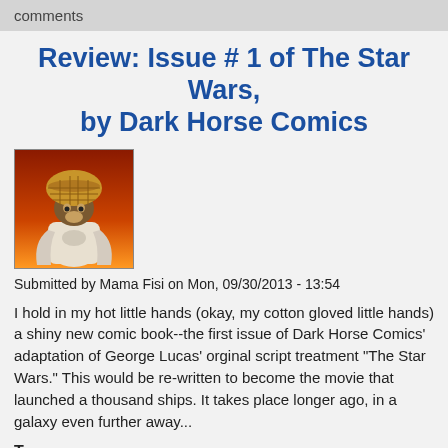comments
Review: Issue # 1 of The Star Wars, by Dark Horse Comics
[Figure (illustration): Comic book cover thumbnail showing a figure in robes with a basket/hood-like headdress against an orange background]
Submitted by Mama Fisi on Mon, 09/30/2013 - 13:54
I hold in my hot little hands (okay, my cotton gloved little hands) a shiny new comic book--the first issue of Dark Horse Comics' adaptation of George Lucas' orginal script treatment "The Star Wars." This would be re-written to become the movie that launched a thousand ships. It takes place longer ago, in a galaxy even further away...
Tags:
book review